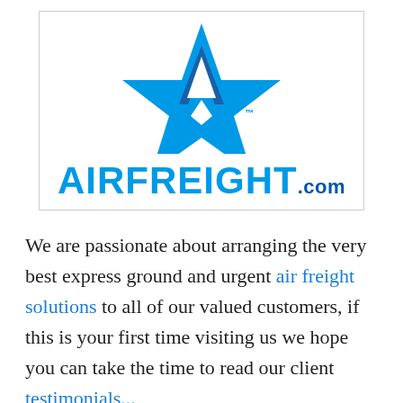[Figure (logo): AirFreight.com logo: a blue star shape forming an 'A' letter mark above the text 'AIRFREIGHT.com' in bold blue letters with a trademark symbol]
We are passionate about arranging the very best express ground and urgent air freight solutions to all of our valued customers, if this is your first time visiting us we hope you can take the time to read our client testimonials...